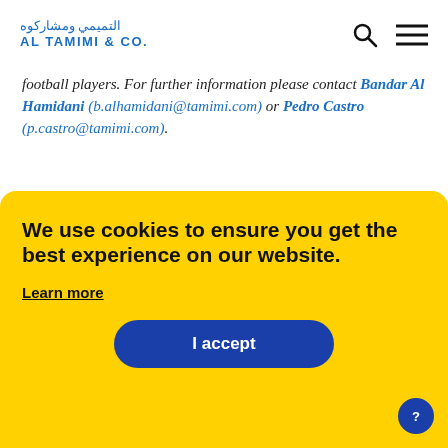[Figure (logo): Al Tamimi & Co. law firm logo with Arabic text above and English text below]
football players. For further information please contact Bandar Al Hamidani (b.alhamidani@tamimi.com) or Pedro Castro (p.castro@tamimi.com).
We use cookies to ensure you get the best experience on our website.
Learn more
I accept